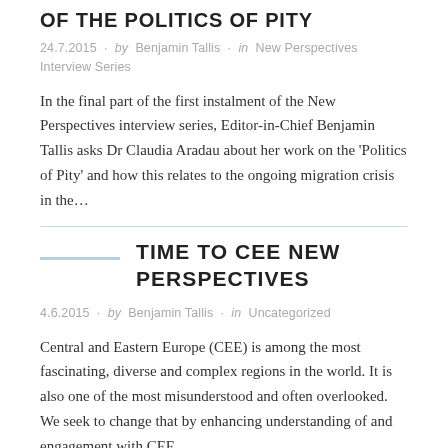OF THE POLITICS OF PITY
24.7.2015 · by Benjamin Tallis · in New Perspectives Interview Series
In the final part of the first instalment of the New Perspectives interview series, Editor-in-Chief Benjamin Tallis asks Dr Claudia Aradau about her work on the 'Politics of Pity' and how this relates to the ongoing migration crisis in the…
TIME TO CEE NEW PERSPECTIVES
4.6.2015 · by Benjamin Tallis · in Uncategorized
Central and Eastern Europe (CEE) is among the most fascinating, diverse and complex regions in the world. It is also one of the most misunderstood and often overlooked. We seek to change that by enhancing understanding of and engagement with CEE,…